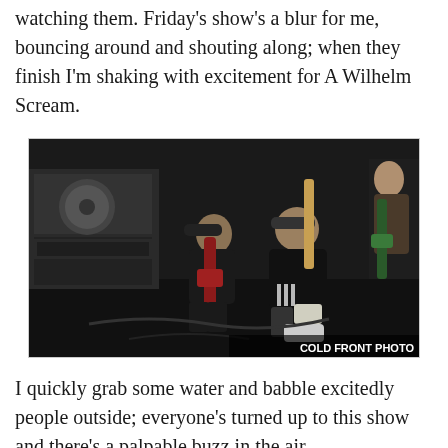watching them. Friday's show's a blur for me, bouncing around and shouting along; when they finish I'm shaking with excitement for A Wilhelm Scream.
[Figure (photo): Concert photo of band members on stage performing with guitars, crouching and energetically playing. Photo credit: COLD FRONT PHOTO]
I quickly grab some water and babble excitedly people outside; everyone's turned up to this show and there's a palpable buzz in the air.